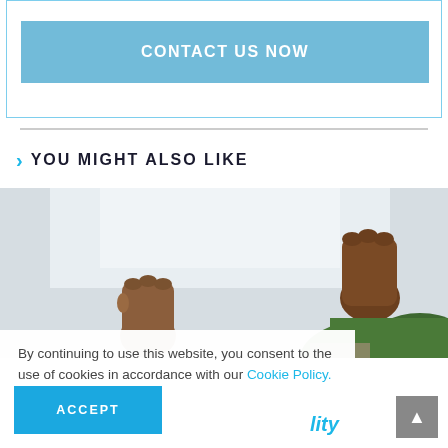CONTACT US NOW
YOU MIGHT ALSO LIKE
[Figure (photo): Photo of person raising fist in outdoor setting, split image showing two raised fists against sky and trees]
By continuing to use this website, you consent to the use of cookies in accordance with our Cookie Policy.
ACCEPT
lity